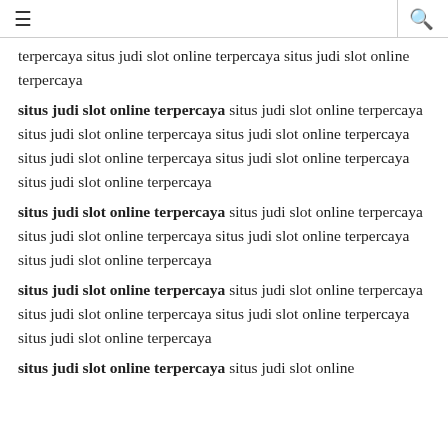≡  🔍
terpercaya situs judi slot online terpercaya situs judi slot online terpercaya
situs judi slot online terpercaya situs judi slot online terpercaya situs judi slot online terpercaya situs judi slot online terpercaya situs judi slot online terpercaya situs judi slot online terpercaya situs judi slot online terpercaya
situs judi slot online terpercaya situs judi slot online terpercaya situs judi slot online terpercaya situs judi slot online terpercaya situs judi slot online terpercaya
situs judi slot online terpercaya situs judi slot online terpercaya situs judi slot online terpercaya situs judi slot online terpercaya situs judi slot online terpercaya
situs judi slot online terpercaya situs judi slot online